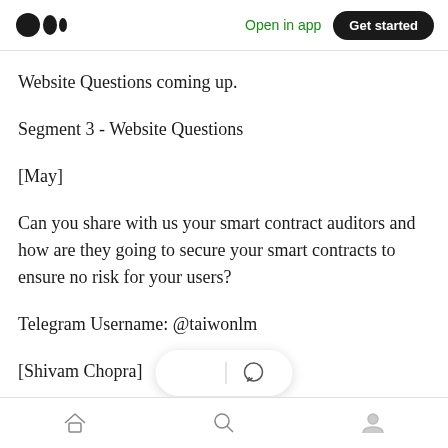Medium app navigation bar with logo, Open in app, Get started
Website Questions coming up.
Segment 3 - Website Questions
[May]
Can you share with us your smart contract auditors and how are they going to secure your smart contracts to ensure no risk for your users?
Telegram Username: @taiwonlm
[Shivam Chopra]
Bottom navigation bar with home, search, and profile icons